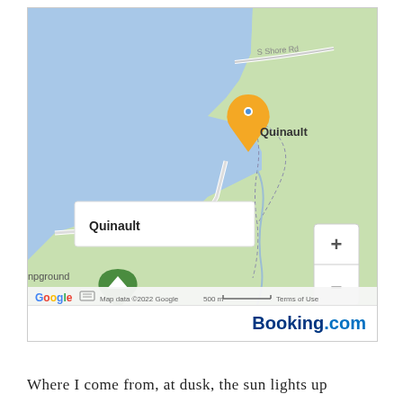[Figure (map): Google Maps screenshot showing Quinault location with orange location pin, a white popup box labeled 'Quinault', green campground marker, lake/water area in blue, roads including S Shore Rd, zoom controls (+/-), Google logo, map data attribution '©2022 Google', scale bar '500 m', and 'Terms of Use'. Booking.com logo in bottom right.]
Where I come from, at dusk, the sun lights up